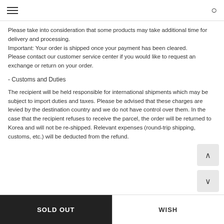Please take into consideration that some products may take additional time for delivery and processing.
Important: Your order is shipped once your payment has been cleared.
Please contact our customer service center if you would like to request an exchange or return on your order.
- Customs and Duties
The recipient will be held responsible for international shipments which may be subject to import duties and taxes. Please be advised that these charges are levied by the destination country and we do not have control over them. In the case that the recipient refuses to receive the parcel, the order will be returned to Korea and will not be re-shipped. Relevant expenses (round-trip shipping, customs, etc.) will be deducted from the refund.
SOLD OUT  WISH